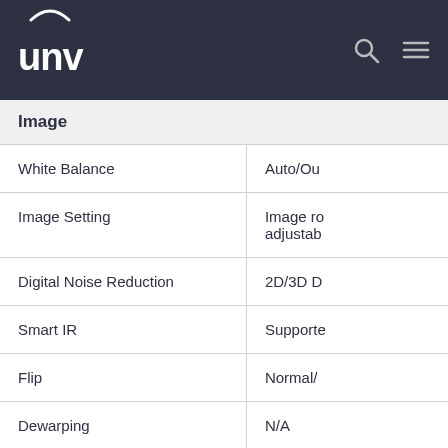UNV
| Feature | Value |
| --- | --- |
| Image |  |
| White Balance | Auto/Ou… |
| Image Setting | Image ro… adjustab… |
| Digital Noise Reduction | 2D/3D D… |
| Smart IR | Supporte… |
| Flip | Normal/… |
| Dewarping | N/A |
| HLC | Supporte… |
| BLC | Supporte… |